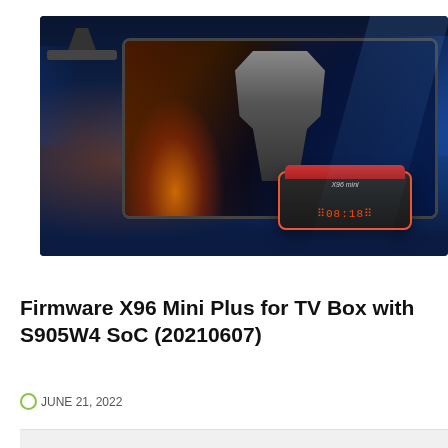[Figure (photo): X96 Mini Plus TV Box product photo with gaming monitor showing armored character, set against blue sci-fi background with hexagonal patterns]
FIRMWARE
Firmware X96 Mini Plus for TV Box with S905W4 SoC (20210607)
JUNE 21, 2022